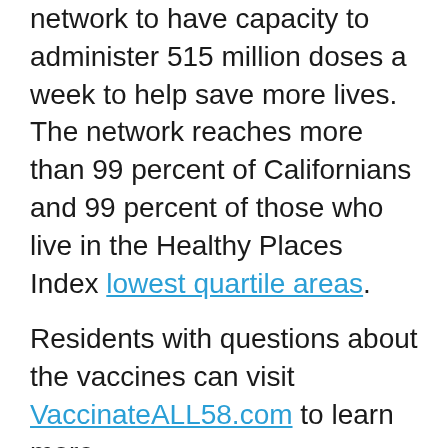network to have capacity to administer 515 million doses a week to help save more lives. The network reaches more than 99 percent of Californians and 99 percent of those who live in the Healthy Places Index lowest quartile areas.
Residents with questions about the vaccines can visit VaccinateALL58.com to learn more.
###
[Figure (other): Search input box with Search button]
Recent News